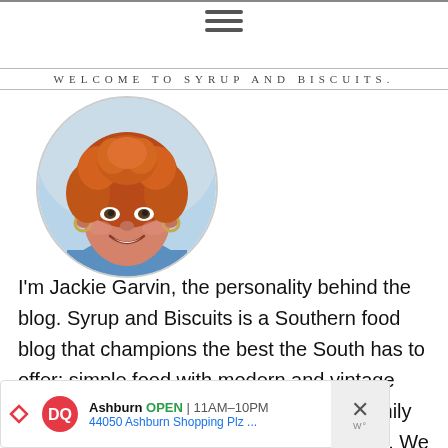WELCOME TO SYRUP AND BISCUITS.
[Figure (photo): Circular portrait photo of a woman with curly red hair, smiling, wearing hoop earrings and a blue top.]
I'm Jackie Garvin, the personality behind the blog. Syrup and Biscuits is a Southern food blog that champions the best the South has to offer: simple food with modern and vintage recipes, beloved traditions, a focus on family and bountiful gratitude for many blessings. We love company and we're mighty happy you joi...
[Figure (infographic): Advertisement banner for Dairy Queen (DQ) in Ashburn showing OPEN | 11AM-10PM and address 44050 Ashburn Shopping Plz ... with a navigation arrow icon and a close button.]